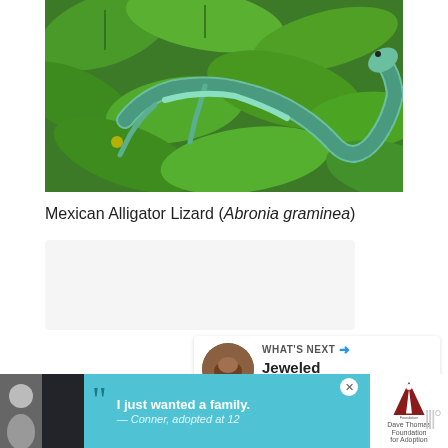[Figure (photo): A green Mexican Alligator Lizard (Abronia graminea) perched among bright green tropical leaves, showing its scaled body and tail curving upward.]
Mexican Alligator Lizard (Abronia graminea)
[Figure (other): Like/heart button (blue circle with heart icon) showing count of 1, and a share button below it.]
[Figure (infographic): WHAT'S NEXT panel showing a thumbnail of Jeweled Lacerta... with a circular brown lizard thumbnail.]
[Figure (other): Advertisement banner: dark background with cyan/teal ad showing a boy with quote 'I just wanted a family. — Conner, adopted at 12' and Dave Thomas Foundation for Adoption logo.]